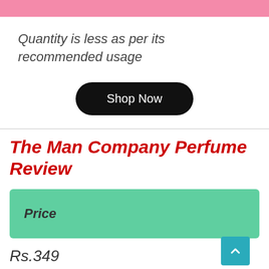Quantity is less as per its recommended usage
Shop Now
The Man Company Perfume Review
| Price |
| --- |
| Rs.349 |